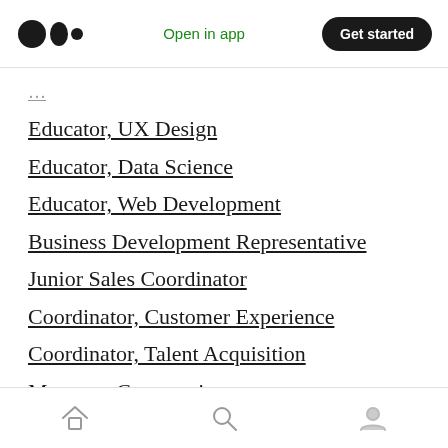Open in app | Get started
Educator, UX Design
Educator, Data Science
Educator, Web Development
Business Development Representative
Junior Sales Coordinator
Coordinator, Customer Experience
Coordinator, Talent Acquisition
Manager, Community
TripleLift
TripleLift is a technology company rooted at the intersection of creative and media. We are an
Home | Search | Profile